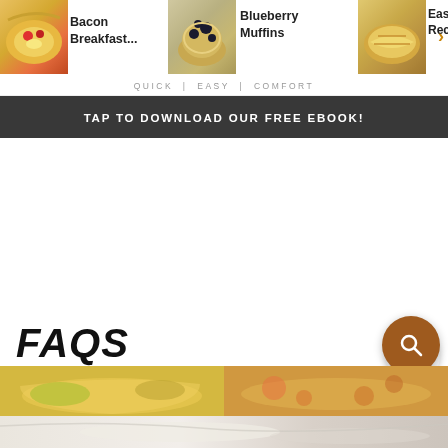[Figure (screenshot): Food recipe website screenshot showing a carousel of food items: Bacon Breakfast..., Blueberry Muffins, Easy Recipe (partially visible), with food thumbnail images. A 'QUICK | EASY | COMFORT' tagline below.]
QUICK | EASY | COMFORT
TAP TO DOWNLOAD OUR FREE EBOOK!
[Figure (other): White blank/ad space in the middle of the page]
[Figure (other): Up arrow button (circular, light grey)]
300
[Figure (other): Heart/favorite button (circular, light grey)]
FAQS
[Figure (other): Search button (circular, brown)]
[Figure (photo): Food photography strip at bottom showing yellow/orange casserole dish and another food item]